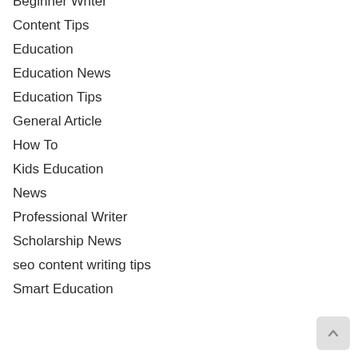Beginner Writer
Content Tips
Education
Education News
Education Tips
General Article
How To
Kids Education
News
Professional Writer
Scholarship News
seo content writing tips
Smart Education